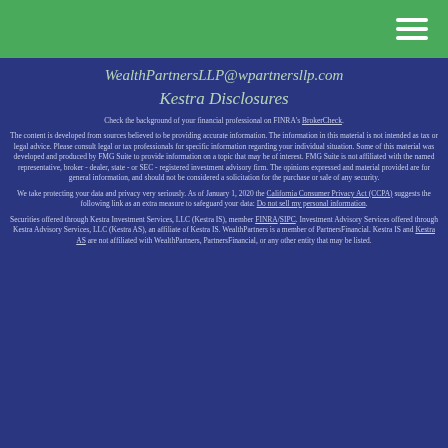WealthPartnersLLP@wpartnersllp.com
Kestra Disclosures
Check the background of your financial professional on FINRA's BrokerCheck.
The content is developed from sources believed to be providing accurate information. The information in this material is not intended as tax or legal advice. Please consult legal or tax professionals for specific information regarding your individual situation. Some of this material was developed and produced by FMG Suite to provide information on a topic that may be of interest. FMG Suite is not affiliated with the named representative, broker - dealer, state - or SEC - registered investment advisory firm. The opinions expressed and material provided are for general information, and should not be considered a solicitation for the purchase or sale of any security.
We take protecting your data and privacy very seriously. As of January 1, 2020 the California Consumer Privacy Act (CCPA) suggests the following link as an extra measure to safeguard your data: Do not sell my personal information.
Securities offered through Kestra Investment Services, LLC (Kestra IS), member FINRA/SIPC. Investment Advisory Services offered through Kestra Advisory Services, LLC (Kestra AS), an affiliate of Kestra IS. WealthPartners is a member of PartnersFinancial. Kestra IS and Kestra AS are not affiliated with WealthPartners, PartnersFinancial, or any other entity that may be listed.